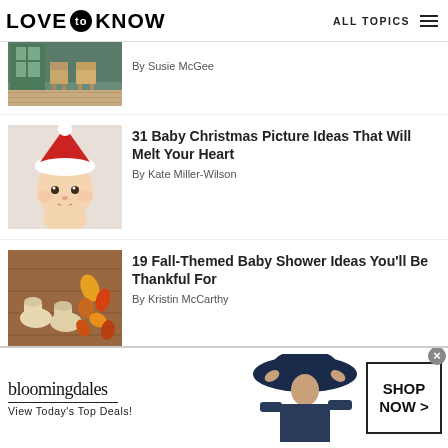LOVE to KNOW  ALL TOPICS
By Susie McGee
[Figure (photo): Porch chairs with wooden adirondack chairs outdoors]
31 Baby Christmas Picture Ideas That Will Melt Your Heart
By Kate Miller-Wilson
[Figure (photo): Baby wearing a red Santa hat]
19 Fall-Themed Baby Shower Ideas You'll Be Thankful For
By Kristin McCarthy
[Figure (photo): Baby boots and fall leaves on wooden table]
[Figure (photo): Bloomingdales advertisement with woman in hat - View Today's Top Deals! SHOP NOW >]